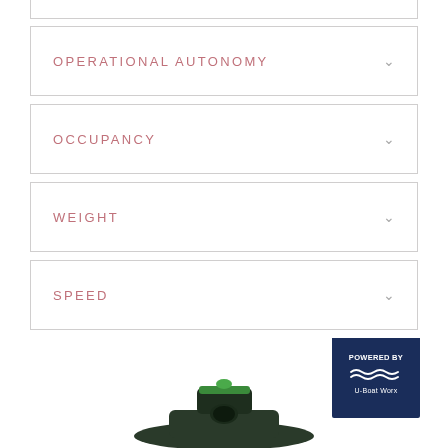OPERATIONAL AUTONOMY
OCCUPANCY
WEIGHT
SPEED
[Figure (photo): Bottom portion of a submarine vessel in dark green/black color, partially visible, with a U-Boat Worx powered badge in navy blue in the lower right corner showing wave logo and text 'POWERED BY U-Boat Worx']